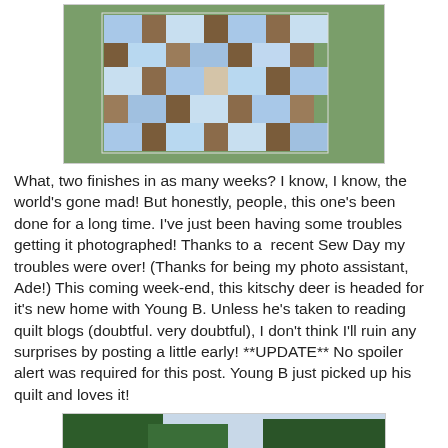[Figure (photo): Aerial view of a blue and brown patchwork quilt laid out on grass with small white flowers]
What, two finishes in as many weeks? I know, I know, the world's gone mad! But honestly, people, this one's been done for a long time. I've just been having some troubles getting it photographed! Thanks to a  recent Sew Day my troubles were over! (Thanks for being my photo assistant, Ade!) This coming week-end, this kitschy deer is headed for it's new home with Young B. Unless he's taken to reading quilt blogs (doubtful. very doubtful), I don't think I'll ruin any surprises by posting a little early! **UPDATE** No spoiler alert was required for this post. Young B just picked up his quilt and loves it!
[Figure (photo): Quilt hanging outdoors against trees, showing blue and white patchwork pattern with brown accents]